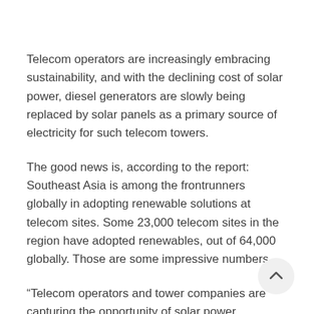Telecom operators are increasingly embracing sustainability, and with the declining cost of solar power, diesel generators are slowly being replaced by solar panels as a primary source of electricity for such telecom towers.
The good news is, according to the report: Southeast Asia is among the frontrunners globally in adopting renewable solutions at telecom sites. Some 23,000 telecom sites in the region have adopted renewables, out of 64,000 globally. Those are some impressive numbers.
“Telecom operators and tower companies are capturing the opportunity of solar power